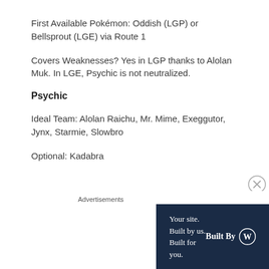First Available Pokémon: Oddish (LGP) or Bellsprout (LGE) via Route 1
Covers Weaknesses? Yes in LGP thanks to Alolan Muk. In LGE, Psychic is not neutralized.
Psychic
Ideal Team: Alolan Raichu, Mr. Mime, Exeggutor, Jynx, Starmie, Slowbro
Optional: Kadabra
Advertisements
[Figure (infographic): WordPress advertisement banner: 'Your site. Built by us. Built for you.' with 'Built By' and WordPress logo on dark navy background.]